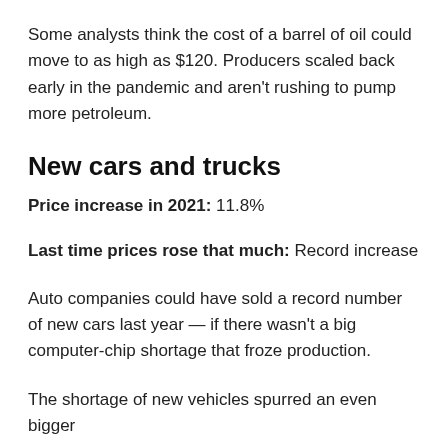Some analysts think the cost of a barrel of oil could move to as high as $120. Producers scaled back early in the pandemic and aren't rushing to pump more petroleum.
New cars and trucks
Price increase in 2021: 11.8%
Last time prices rose that much: Record increase
Auto companies could have sold a record number of new cars last year — if there wasn't a big computer-chip shortage that froze production.
The shortage of new vehicles spurred an even bigger